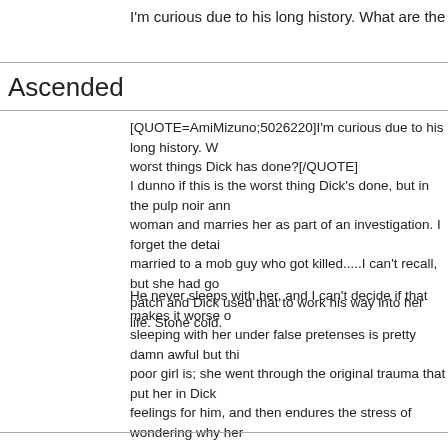I'm curious due to his long history. What are the best and worst thing
Ascended
[QUOTE=AmiMizuno;5026220]I'm curious due to his long history. W... worst things Dick has done?[/QUOTE]
I dunno if this is the worst thing Dick's done, but in the pulp noir ann... woman and marries her as part of an investigation. I forget the detai... married to a mob guy who got killed.....I can't recall, but she had go... patch and Dick used that to work his way into her life. Stone cold.
He never sleeps with her, and I can't decide if that makes it worse o... sleeping with her under false pretenses is pretty damn awful but thi... poor girl is; she went through the original trauma that put her in Dick... feelings for him, and then endures the stress of wondering why her... isn't even interested enough in her to share a bed. She's just a ball o... depression by the end, and a lot of it was caused by Dick.
L.H.
Well, he thought she was a serial killer (both her husbands died soo